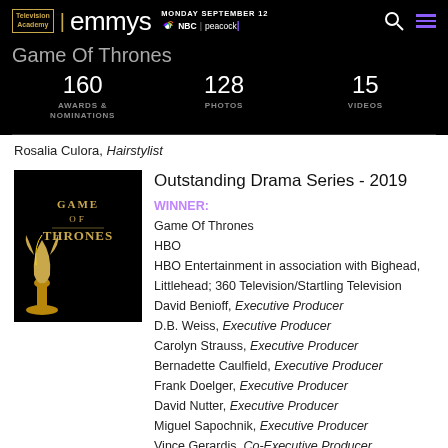Television Academy | emmys MONDAY SEPTEMBER 12 NBC | peacock
Game Of Thrones
160 AWARDS & NOMINATIONS | 128 PHOTOS | 15 VIDEOS
Rosalia Culora, Hairstylist
[Figure (logo): Game of Thrones logo on black background with Emmy statuette]
Outstanding Drama Series - 2019
WINNER:
Game Of Thrones
HBO
HBO Entertainment in association with Bighead, Littlehead; 360 Television/Startling Television
David Benioff, Executive Producer
D.B. Weiss, Executive Producer
Carolyn Strauss, Executive Producer
Bernadette Caulfield, Executive Producer
Frank Doelger, Executive Producer
David Nutter, Executive Producer
Miguel Sapochnik, Executive Producer
Vince Gerardis, Co-Executive Producer